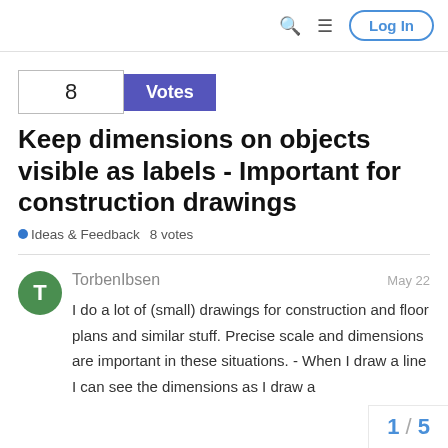🔍  ≡  Log In
8  Votes
Keep dimensions on objects visible as labels - Important for construction drawings
● Ideas & Feedback   8 votes
TorbenIbsen  May 22
I do a lot of (small) drawings for construction and floor plans and similar stuff. Precise scale and dimensions are important in these situations. - When I draw a line I can see the dimensions as I draw a
1 / 5